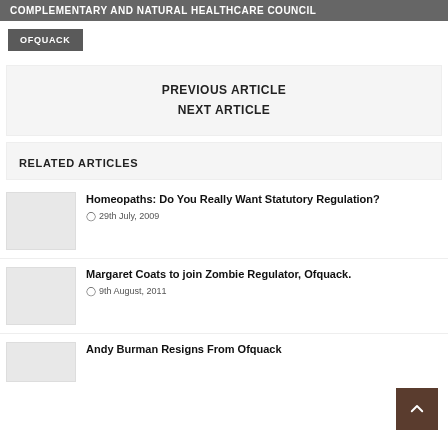COMPLEMENTARY AND NATURAL HEALTHCARE COUNCIL
OFQUACK
PREVIOUS ARTICLE
NEXT ARTICLE
RELATED ARTICLES
Homeopaths: Do You Really Want Statutory Regulation?
29th July, 2009
Margaret Coats to join Zombie Regulator, Ofquack.
9th August, 2011
Andy Burman Resigns From Ofquack